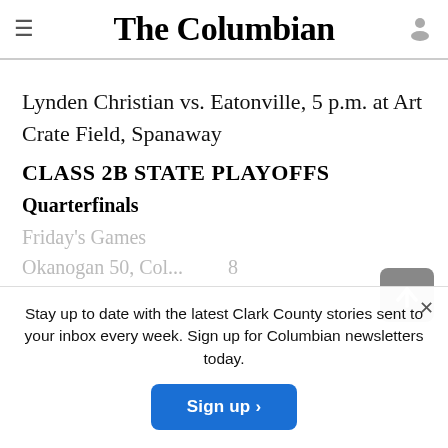The Columbian
Lynden Christian vs. Eatonville, 5 p.m. at Art Crate Field, Spanaway
CLASS 2B STATE PLAYOFFS
Quarterfinals
Friday's Games
Okanogan 50, Col... ...8
Stay up to date with the latest Clark County stories sent to your inbox every week. Sign up for Columbian newsletters today.